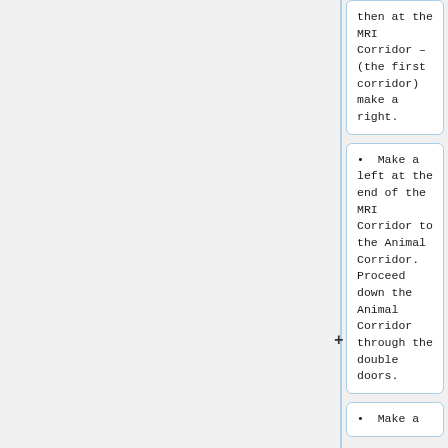then at the MRI Corridor – (the first corridor) make a right.
• Make a left at the end of the MRI Corridor to the Animal Corridor. Proceed down the Animal Corridor through the double doors.
• Make a